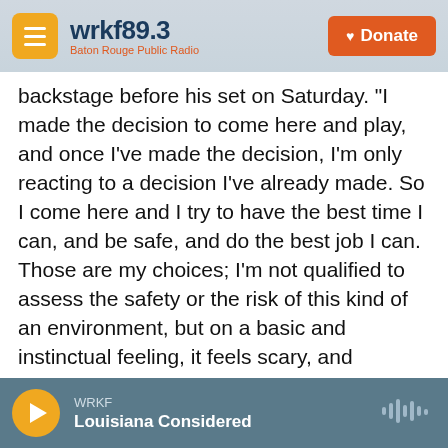wrkf89.3 Baton Rouge Public Radio | Donate
backstage before his set on Saturday. "I made the decision to come here and play, and once I've made the decision, I'm only reacting to a decision I've already made. So I come here and I try to have the best time I can, and be safe, and do the best job I can. Those are my choices; I'm not qualified to assess the safety or the risk of this kind of an environment, but on a basic and instinctual feeling, it feels scary, and dangerous to me. With that said, I think there's a point of diminishing returns, and I think people need psychological and emotional health in the same way that they need physical health. I think a lot of us right now are trying to
WRKF | Louisiana Considered